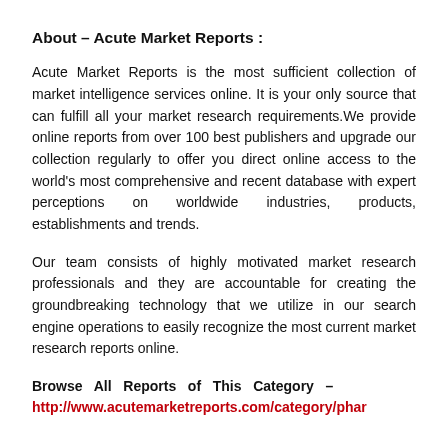About – Acute Market Reports :
Acute Market Reports is the most sufficient collection of market intelligence services online. It is your only source that can fulfill all your market research requirements.We provide online reports from over 100 best publishers and upgrade our collection regularly to offer you direct online access to the world's most comprehensive and recent database with expert perceptions on worldwide industries, products, establishments and trends.
Our team consists of highly motivated market research professionals and they are accountable for creating the groundbreaking technology that we utilize in our search engine operations to easily recognize the most current market research reports online.
Browse All Reports of This Category – http://www.acutemarketreports.com/category/phar...